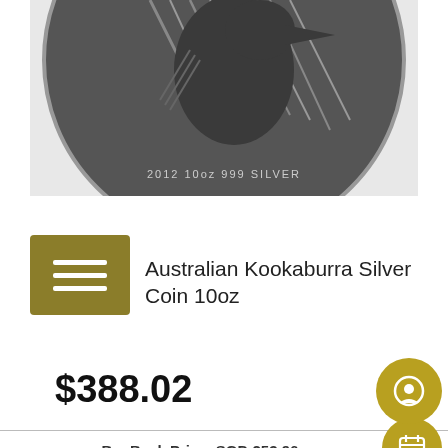[Figure (photo): Silver coin showing kookaburra bird on branch, inscribed '2012 10oz 999 SILVER', partially cropped at top]
Australian Kookaburra Silver Coin 10oz
$388.02
BuyBack Price: SGD 253.96
[Figure (photo): Two silver bars showing koala/kookaburra design, one face-up and one angled, in silver tins with engraved design]